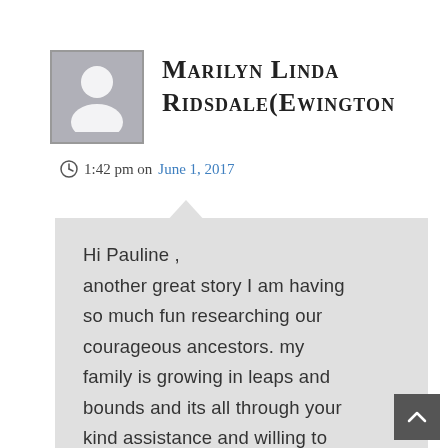[Figure (illustration): Generic user avatar placeholder — grey square with a white silhouette person icon]
Marilyn Linda Ridsdale(Ewington
1:42 pm on June 1, 2017
Hi Pauline , another great story I am having so much fun researching our courageous ancestors. my family is growing in leaps and bounds and its all through your kind assistance and willing to share . My novel, that has percolated in my mind for many years now has a chance to flow